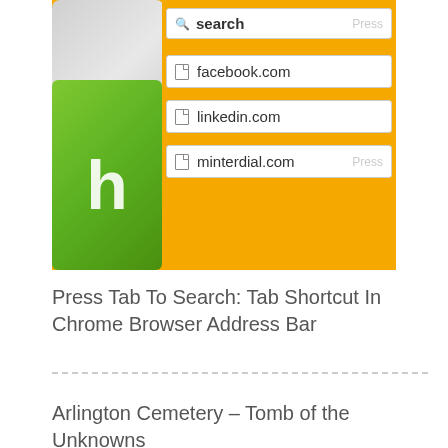[Figure (screenshot): Screenshot of Chrome browser address bar showing search autocomplete with entries: search, facebook.com, linkedin.com, minterdial.com — overlaid on an orange/yellow background with a keyboard showing a green key with letter 'h']
Press Tab To Search: Tab Shortcut In Chrome Browser Address Bar
Arlington Cemetery – Tomb of the Unknowns